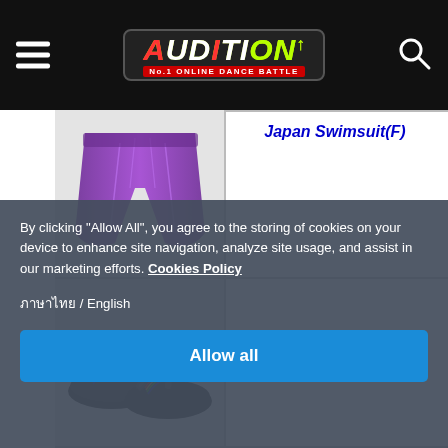AUDITION No.1 Online Dance Battle
[Figure (illustration): Purple swim shorts/bottom garment, partially visible at top]
Japan Swimsuit(F)
[Figure (illustration): Black flip-flop sandals with rainbow accent strap]
Japan Swimsuit(M)
[Figure (illustration): Yellow/orange food item partially visible at bottom]
By clicking "Allow All", you agree to the storing of cookies on your device to enhance site navigation, analyze site usage, and assist in our marketing efforts. Cookies Policy

ภาษาไทย / English
Allow all